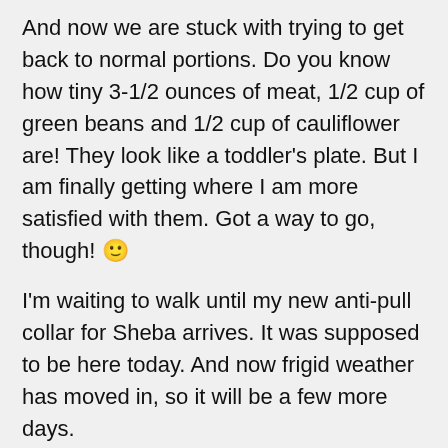And now we are stuck with trying to get back to normal portions. Do you know how tiny 3-1/2 ounces of meat, 1/2 cup of green beans and 1/2 cup of cauliflower are! They look like a toddler's plate. But I am finally getting where I am more satisfied with them. Got a way to go, though! 🙂
I'm waiting to walk until my new anti-pull collar for Sheba arrives. It was supposed to be here today. And now frigid weather has moved in, so it will be a few more days.
I am doing some stretching exercises and light weights inside. Can't ride the exercise bike because my knees are about blown out! 🙂